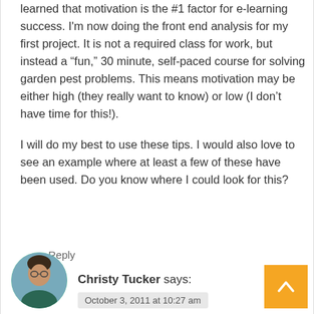learned that motivation is the #1 factor for e-learning success. I'm now doing the front end analysis for my first project. It is not a required class for work, but instead a “fun,” 30 minute, self-paced course for solving garden pest problems. This means motivation may be either high (they really want to know) or low (I don’t have time for this!).
I will do my best to use these tips. I would also love to see an example where at least a few of these have been used. Do you know where I could look for this?
Reply
Christy Tucker says:
October 3, 2011 at 10:27 am